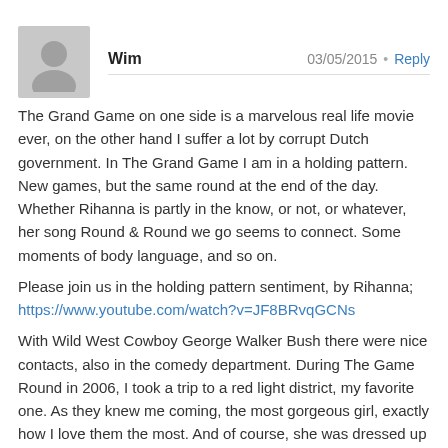Wim  03/05/2015 • Reply
The Grand Game on one side is a marvelous real life movie ever, on the other hand I suffer a lot by corrupt Dutch government. In The Grand Game I am in a holding pattern. New games, but the same round at the end of the day. Whether Rihanna is partly in the know, or not, or whatever, her song Round & Round we go seems to connect. Some moments of body language, and so on.
Please join us in the holding pattern sentiment, by Rihanna;
https://www.youtube.com/watch?v=JF8BRvqGCNs

With Wild West Cowboy George Walker Bush there were nice contacts, also in the comedy department. During The Game Round in 2006, I took a trip to a red light district, my favorite one. As they knew me coming, the most gorgeous girl, exactly how I love them the most. And of course, she was dressed up like a rodeo cowboy girl, relating to my Bush perception. She seemed tuned in on The Grand Game, as she seemed to understand the songs selected on the radio like I did. We talked, contemplated